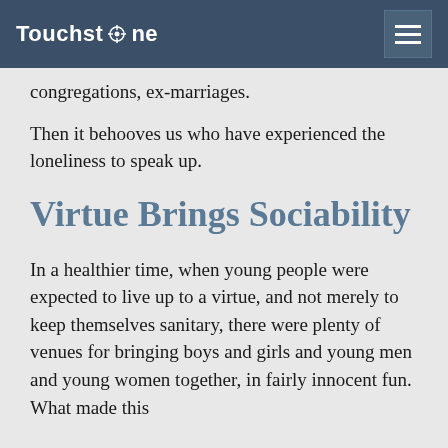Touchstone
congregations, ex-marriages.
Then it behooves us who have experienced the loneliness to speak up.
Virtue Brings Sociability
In a healthier time, when young people were expected to live up to a virtue, and not merely to keep themselves sanitary, there were plenty of venues for bringing boys and girls and young men and young women together, in fairly innocent fun. What made this